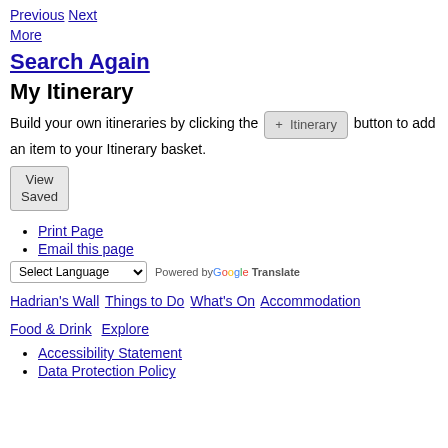Previous Next
More
Search Again
My Itinerary
Build your own itineraries by clicking the + Itinerary button to add an item to your Itinerary basket.
View Saved
Print Page
Email this page
Select Language ▾  Powered by Google Translate
Hadrian's Wall  Things to Do  What's On  Accommodation  Food & Drink  Explore
Accessibility Statement
Data Protection Policy